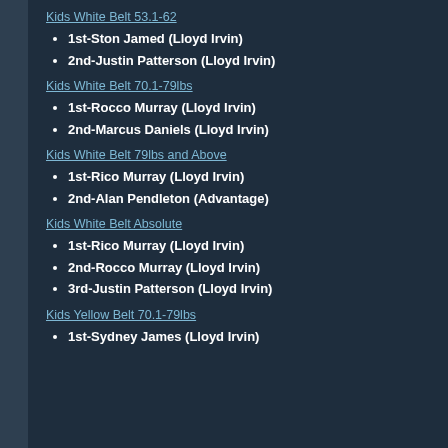Kids White Belt 53.1-62
1st-Ston Jamed (Lloyd Irvin)
2nd-Justin Patterson (Lloyd Irvin)
Kids White Belt 70.1-79lbs
1st-Rocco Murray (Lloyd Irvin)
2nd-Marcus Daniels (Lloyd Irvin)
Kids White Belt 79lbs and Above
1st-Rico Murray (Lloyd Irvin)
2nd-Alan Pendleton (Advantage)
Kids White Belt Absolute
1st-Rico Murray (Lloyd Irvin)
2nd-Rocco Murray (Lloyd Irvin)
3rd-Justin Patterson (Lloyd Irvin)
Kids Yellow Belt 70.1-79lbs
1st-Sydney James (Lloyd Irvin)